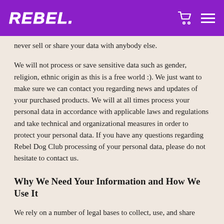REBEL.
never sell or share your data with anybody else.
We will not process or save sensitive data such as gender, religion, ethnic origin as this is a free world :). We just want to make sure we can contact you regarding news and updates of your purchased products. We will at all times process your personal data in accordance with applicable laws and regulations and take technical and organizational measures in order to protect your personal data. If you have any questions regarding Rebel Dog Club processing of your personal data, please do not hesitate to contact us.
Why We Need Your Information and How We Use It
We rely on a number of legal bases to collect, use, and share